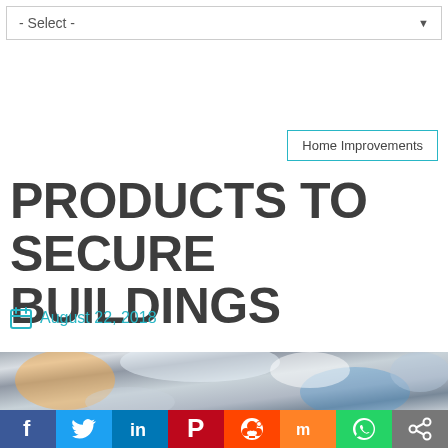- Select -
Home Improvements
PRODUCTS TO SECURE BUILDINGS
August 22, 2018
[Figure (photo): Crinkled metallic foil material, silver with reflective surface and hints of orange and blue]
[Figure (infographic): Social sharing bar with icons: Facebook, Twitter, LinkedIn, Pinterest, Reddit, Mix, WhatsApp, Share]